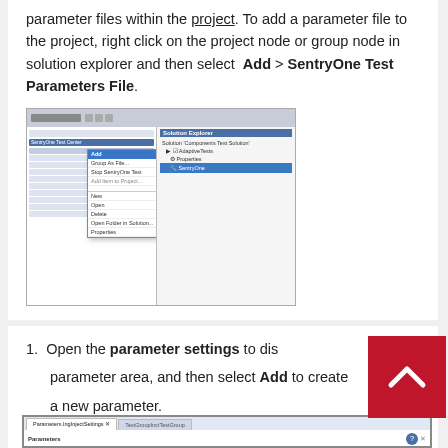parameter files within the project. To add a parameter file to the project, right click on the project node or group node in solution explorer and then select Add > SentryOne Test Parameters File.
[Figure (screenshot): Screenshot of Visual Studio Solution Explorer with context menu showing Add > SentryOne Test Parameters File option selected]
Open the parameter settings to display the parameter area, and then select Add to create a new parameter.
[Figure (screenshot): Screenshot of parameter settings dialog showing Parameters tab with TestGroupInptestGroup open]